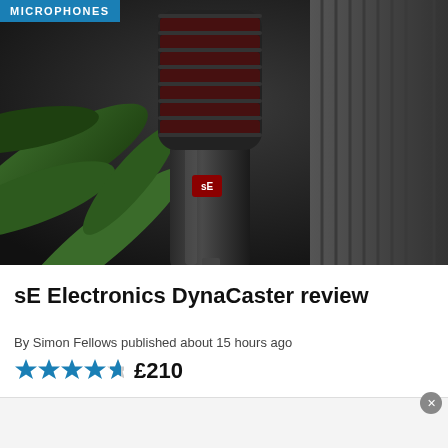MICROPHONES
[Figure (photo): Close-up photograph of an sE Electronics DynaCaster dynamic microphone against a dark background with green plant leaves. The microphone is black with red mesh grille rings and a small red logo badge on the body. A foam acoustic panel is visible on the right side.]
sE Electronics DynaCaster review
By Simon Fellows published about 15 hours ago
★★★★½  £210